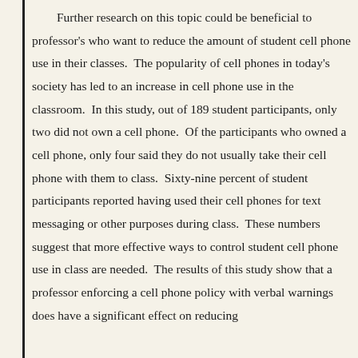Further research on this topic could be beneficial to professor's who want to reduce the amount of student cell phone use in their classes. The popularity of cell phones in today's society has led to an increase in cell phone use in the classroom. In this study, out of 189 student participants, only two did not own a cell phone. Of the participants who owned a cell phone, only four said they do not usually take their cell phone with them to class. Sixty-nine percent of student participants reported having used their cell phones for text messaging or other purposes during class. These numbers suggest that more effective ways to control student cell phone use in class are needed. The results of this study show that a professor enforcing a cell phone policy with verbal warnings does have a significant effect on reducing